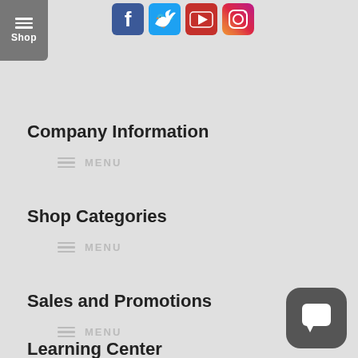[Figure (screenshot): Navigation shop button with hamburger menu icon and 'Shop' label on grey background]
[Figure (screenshot): Social media icons for Facebook, Twitter, YouTube, and Instagram]
Company Information
MENU
Shop Categories
MENU
Sales and Promotions
MENU
Learning Center
[Figure (screenshot): Chat widget button in bottom right corner]